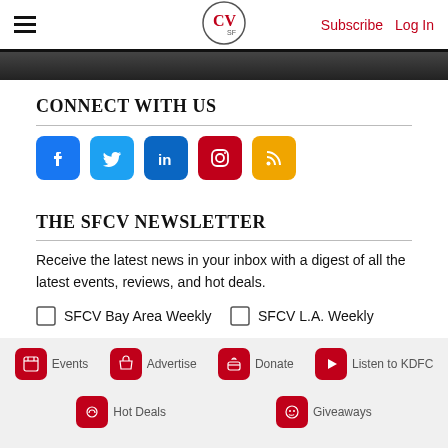CV — Subscribe  Log In
[Figure (screenshot): Dark photo strip at top of content area]
CONNECT WITH US
[Figure (infographic): Row of social media icons: Facebook (blue), Twitter (light blue), LinkedIn (dark blue), Instagram (red), RSS (orange)]
THE SFCV NEWSLETTER
Receive the latest news in your inbox with a digest of all the latest events, reviews, and hot deals.
SFCV Bay Area Weekly
SFCV L.A. Weekly
Events   Advertise   Donate   Listen to KDFC   Hot Deals   Giveaways